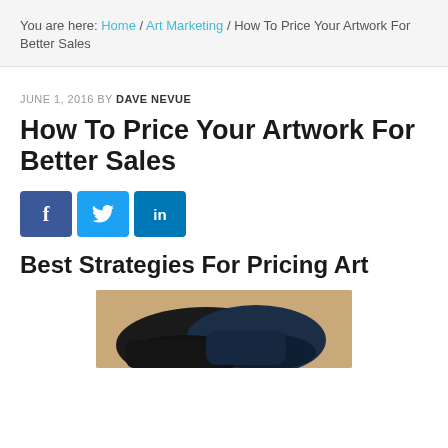You are here: Home / Art Marketing / How To Price Your Artwork For Better Sales
JUNE 1, 2016 BY DAVE NEVUE
How To Price Your Artwork For Better Sales
[Figure (other): Social share buttons: Facebook, Twitter, LinkedIn]
Best Strategies For Pricing Art
[Figure (photo): Photo of a dark-colored animal (appears to be a dog) on a tan/beige background, partially cropped]